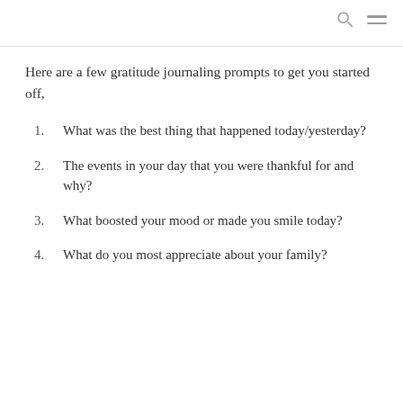Here are a few gratitude journaling prompts to get you started off,
What was the best thing that happened today/yesterday?
The events in your day that you were thankful for and why?
What boosted your mood or made you smile today?
What do you most appreciate about your family?